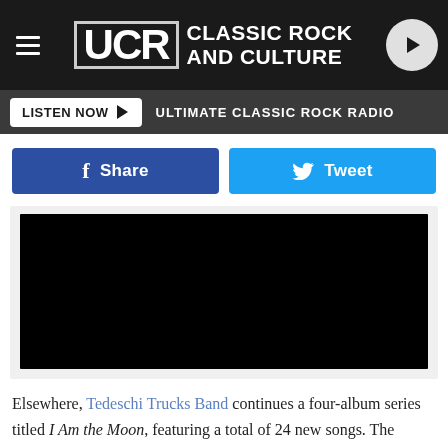UCR CLASSIC ROCK AND CULTURE
LISTEN NOW ▶  ULTIMATE CLASSIC ROCK RADIO
Share  Tweet
[Figure (other): Embedded video player with black background]
Elsewhere, Tedeschi Trucks Band continues a four-album series titled I Am the Moon, featuring a total of 24 new songs. The suddenly very-active Alan Parsons is set to release From the New World, the follow-up to 2019's The